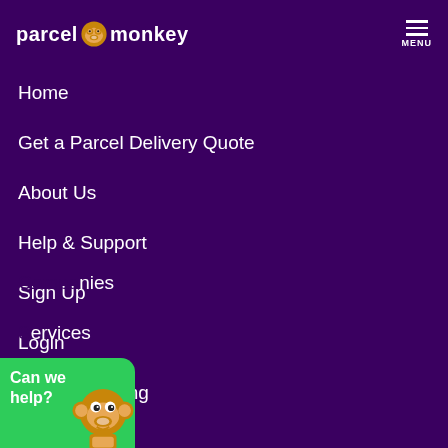parcel monkey  MENU
Home
Get a Parcel Delivery Quote
About Us
Help & Support
Sign Up
Login
Parcel Tracking
Contact Us
Reviews
International Shipping
…nies
…ervices
[Figure (illustration): Chat widget in green with monkey mascot image and text 'Can we help?']